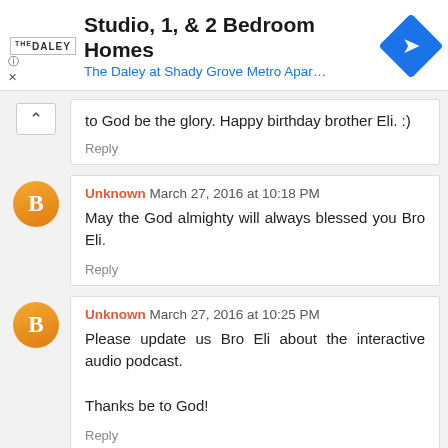[Figure (screenshot): Ad banner for The Daley at Shady Grove Metro Apartments showing Studio, 1, & 2 Bedroom Homes with navigation icon]
to God be the glory. Happy birthday brother Eli. :)
Reply
Unknown  March 27, 2016 at 10:18 PM
May the God almighty will always blessed you Bro Eli.
Reply
Unknown  March 27, 2016 at 10:25 PM
Please update us Bro Eli about the interactive audio podcast.

Thanks be to God!
Reply